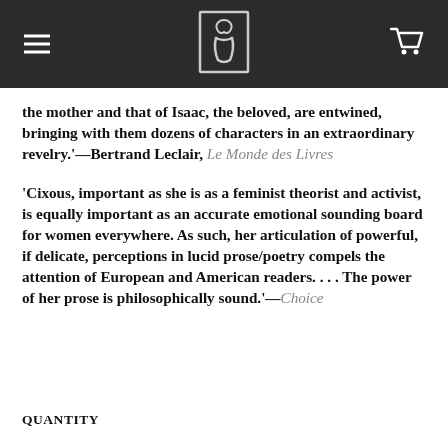[Figure (logo): Website header bar with hamburger menu icon on the left, a logo (stylized figure/book icon) in the center, and a shopping cart icon on the right, on a dark gray background.]
the mother and that of Isaac, the beloved, are entwined, bringing with them dozens of characters in an extraordinary revelry.'—Bertrand Leclair, Le Monde des Livres
'Cixous, important as she is as a feminist theorist and activist, is equally important as an accurate emotional sounding board for women everywhere. As such, her articulation of powerful, if delicate, perceptions in lucid prose/poetry compels the attention of European and American readers. . . . The power of her prose is philosophically sound.'—Choice
QUANTITY